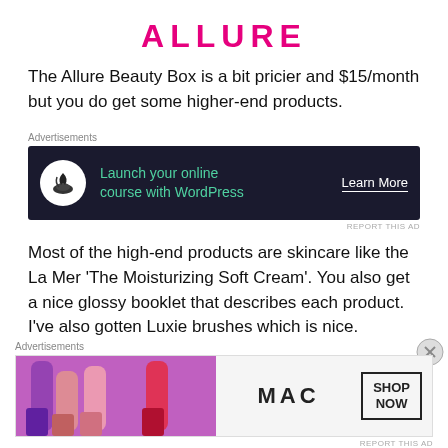ALLURE
The Allure Beauty Box is a bit pricier and $15/month but you do get some higher-end products.
[Figure (screenshot): Advertisement banner with dark background showing 'Launch your online course with WordPress' with a bonsai tree icon and 'Learn More' button]
Most of the high-end products are skincare like the La Mer 'The Moisturizing Soft Cream'. You also get a nice glossy booklet that describes each product. I've also gotten Luxie brushes which is nice.
[Figure (screenshot): Advertisement banner for MAC cosmetics with lipsticks and 'SHOP NOW' button]